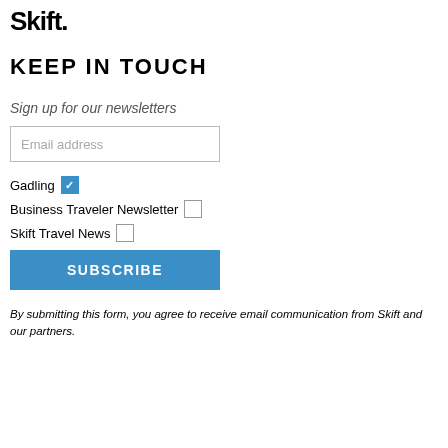[Figure (logo): Skift logo in bold black text with a period/dot after]
KEEP IN TOUCH
Sign up for our newsletters
Email address (input field placeholder)
Gadling [checked checkbox]
Business Traveler Newsletter [unchecked checkbox]
Skift Travel News [unchecked checkbox]
SUBSCRIBE (button)
By submitting this form, you agree to receive email communication from Skift and our partners.